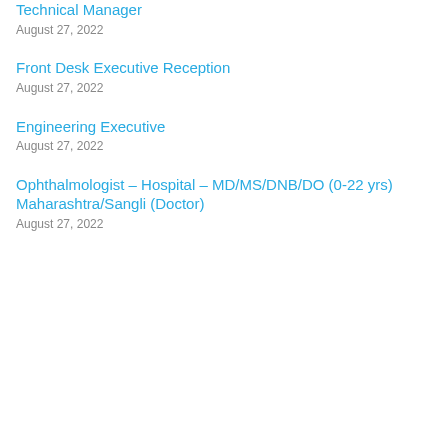Technical Manager
August 27, 2022
Front Desk Executive Reception
August 27, 2022
Engineering Executive
August 27, 2022
Ophthalmologist – Hospital – MD/MS/DNB/DO (0-22 yrs) Maharashtra/Sangli (Doctor)
August 27, 2022